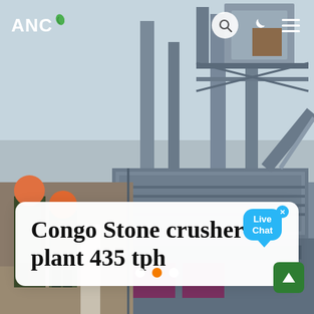[Figure (photo): Construction workers and industrial stone crusher plant equipment — steel structure with machinery, conveyor belts, and workers in orange hard hats and safety gear in the foreground left.]
ANC
Congo Stone crusher plant 435 tph
Live Chat